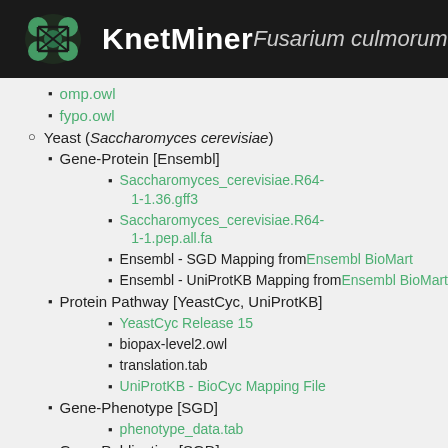KnetMiner — Fusarium culmorum
omp.owl
fypo.owl
Yeast (Saccharomyces cerevisiae)
Gene-Protein [Ensembl]
Saccharomyces_cerevisiae.R64-1-1.36.gff3
Saccharomyces_cerevisiae.R64-1-1.pep.all.fa
Ensembl - SGD Mapping from Ensembl BioMart
Ensembl - UniProtKB Mapping from Ensembl BioMart
Protein Pathway [YeastCyc, UniProtKB]
YeastCyc Release 15
biopax-level2.owl
translation.tab
UniProtKB - BioCyc Mapping File
Gene-Phenotype [SGD]
phenotype_data.tab
Gene-Publication [SGD]
gene_literature.tab